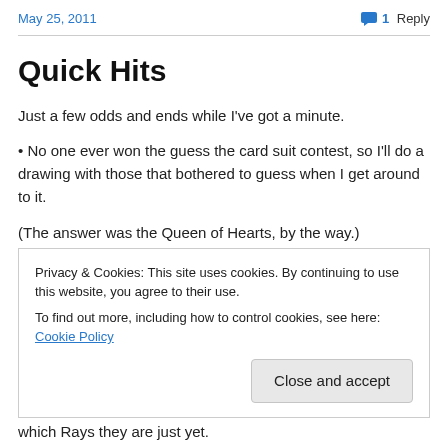May 25, 2011   1 Reply
Quick Hits
Just a few odds and ends while I've got a minute.
• No one ever won the guess the card suit contest, so I'll do a drawing with those that bothered to guess when I get around to it.
(The answer was the Queen of Hearts, by the way.)
Privacy & Cookies: This site uses cookies. By continuing to use this website, you agree to their use.
To find out more, including how to control cookies, see here: Cookie Policy
which Rays they are just yet.